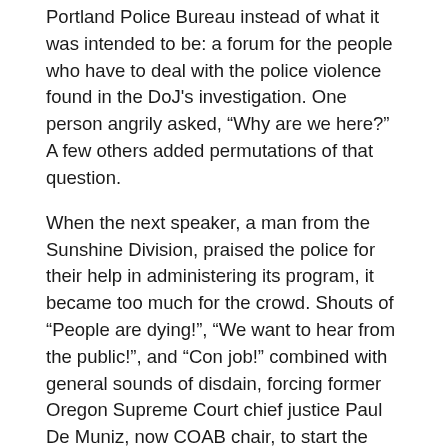Portland Police Bureau instead of what it was intended to be: a forum for the people who have to deal with the police violence found in the DoJ's investigation. One person angrily asked, “Why are we here?” A few others added permutations of that question.
When the next speaker, a man from the Sunshine Division, praised the police for their help in administering its program, it became too much for the crowd. Shouts of “People are dying!”, “We want to hear from the public!”, and “Con job!” combined with general sounds of disdain, forcing former Oregon Supreme Court chief justice Paul De Muniz, now COAB chair, to start the public comment period–which supposedly was what the whole meeting should have been.
Teressa Raiford, lead organizer of Don’t Shoot Portland, railed against the meeting, saying she had walked into a “PR opportunity to talk about how great the police are,” a sentiment that would be echoed often through the rest of the night. Her final statement was as fair a condemnation of the meeting up to that point as one could make: “Fuck this.”